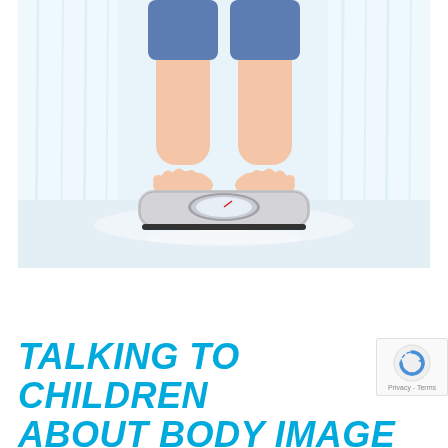[Figure (photo): Child's bare legs and feet standing on a bathroom scale against a bright white background with curtains]
TALKING TO CHILDREN ABOUT BODY IMAGE CAN BE VERY TRICKY